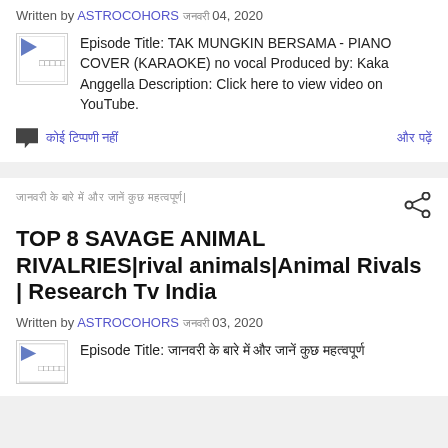Written by ASTROCOHORS [Hindi date] 04, 2020
Episode Title: TAK MUNGKIN BERSAMA - PIANO COVER (KARAOKE) no vocal Produced by: Kaka Anggella Description: Click here to view video on YouTube.
[no comments posted] [read more]
TOP 8 SAVAGE ANIMAL RIVALRIES|rival animals|Animal Rivals | Research Tv India
Written by ASTROCOHORS [Hindi date] 03, 2020
Episode Title: [Hindi text]